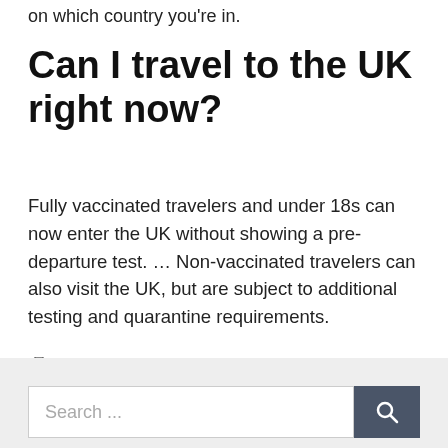on which country you're in.
Can I travel to the UK right now?
Fully vaccinated travelers and under 18s can now enter the UK without showing a pre-departure test. … Non-vaccinated travelers can also visit the UK, but are subject to additional testing and quarantine requirements.
Travel
Search ...